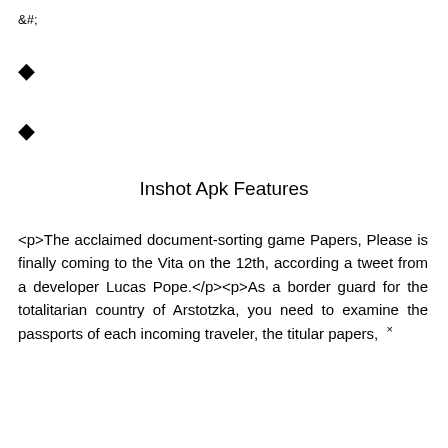&#;
◆
◆
Inshot Apk Features
<p>The acclaimed document-sorting game Papers, Please is finally coming to the Vita on the 12th, according a tweet from a developer Lucas Pope.</p><p>As a border guard for the totalitarian country of Arstotzka, you need to examine the passports of each incoming traveler, the titular papers, ×